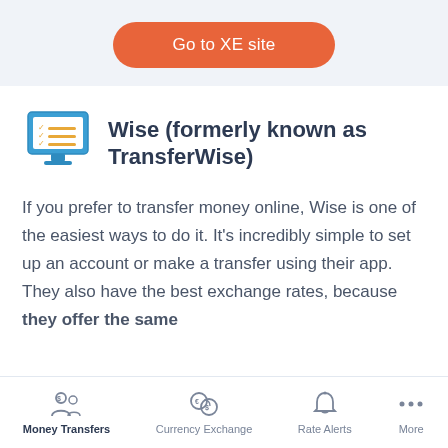[Figure (other): Orange rounded rectangle button labeled 'Go to XE site']
Wise (formerly known as TransferWise)
If you prefer to transfer money online, Wise is one of the easiest ways to do it. It's incredibly simple to set up an account or make a transfer using their app. They also have the best exchange rates, because they offer the same
Money Transfers  Currency Exchange  Rate Alerts  More